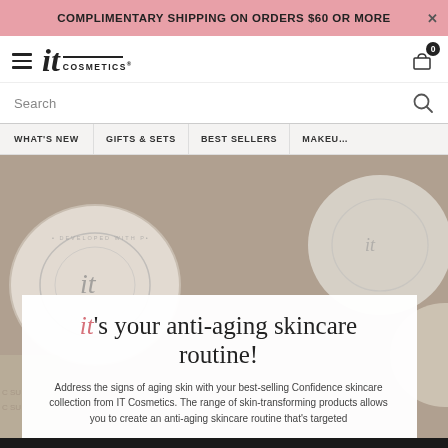COMPLIMENTARY SHIPPING ON ORDERS $60 OR MORE
[Figure (logo): IT Cosmetics logo with hamburger menu icon on left and shopping cart (badge: 0) on right]
Search
WHAT'S NEW   GIFTS & SETS   BEST SELLERS   MAKEUP
[Figure (photo): Close-up of IT Cosmetics skincare product containers with embossed logo, styled flatlay photography]
it's your anti-aging skincare routine!
Address the signs of aging skin with your best-selling Confidence skincare collection from IT Cosmetics. The range of skin-transforming products allows you to create an anti-aging skincare routine that's targeted
SIGN UP   OFFERS